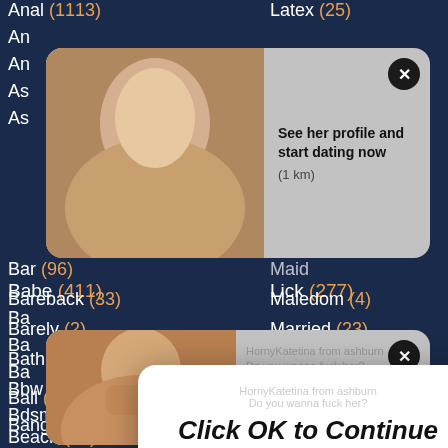Anal (1113)
Latex (25)
Babe (411)
Lick (277)
Ball (45)
Banging (1)
Bar (96)
Bareback (33)
Maledom (4)
Barely (2)
Married (23)
Bathroom (37)
Mask (11)
Bbw (159)
Massage (149)
Bdsm (211)
Masturbating (234)
Beach (34)
Mature (747)
[Figure (photo): Notification popup with image of blonde woman, text: See her profile and start dating now (1 km)]
[Figure (photo): Second notification popup with image of woman in bikini]
Click OK to Continue
OK
Dismiss